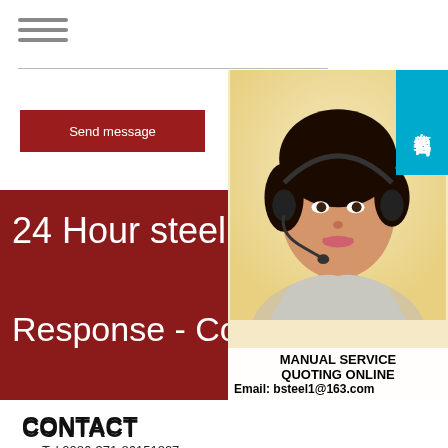[Figure (other): Hamburger/menu icon with three horizontal lines]
Send message
[Figure (photo): Woman wearing a headset smiling, overlaid with Chinese text badge reading 在线咨询 (Online Consultation) in blue, and a service info box showing MANUAL SERVICE, QUOTING ONLINE, Email: bsteel1@163.com]
24 Hour steel M
Response - Con
CONTACT
Tel:0086-371-86151827
Fax:0086-371-86151827